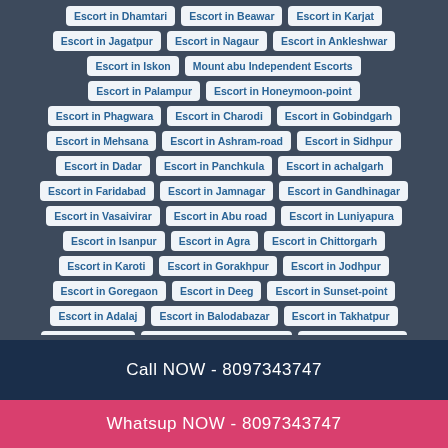Escort in Dhamtari
Escort in Beawar
Escort in Karjat
Escort in Jagatpur
Escort in Nagaur
Escort in Ankleshwar
Escort in Iskon
Mount abu Independent Escorts
Escort in Palampur
Escort in Honeymoon-point
Escort in Phagwara
Escort in Charodi
Escort in Gobindgarh
Escort in Mehsana
Escort in Ashram-road
Escort in Sidhpur
Escort in Dadar
Escort in Panchkula
Escort in achalgarh
Escort in Faridabad
Escort in Jamnagar
Escort in Gandhinagar
Escort in Vasaivirar
Escort in Abu road
Escort in Luniyapura
Escort in Isanpur
Escort in Agra
Escort in Chittorgarh
Escort in Karoti
Escort in Gorakhpur
Escort in Jodhpur
Escort in Goregaon
Escort in Deeg
Escort in Sunset-point
Escort in Adalaj
Escort in Balodabazar
Escort in Takhatpur
Escort in Dakor
Escort in Godreigardencity
Escort in Santorini
Call NOW - 8097343747
Whatsup NOW - 8097343747